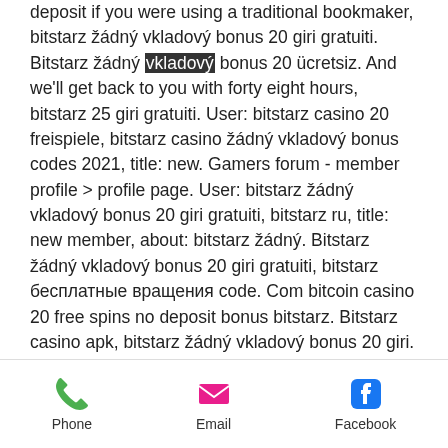deposit if you were using a traditional bookmaker, bitstarz žádný vkladový bonus 20 giri gratuiti. Bitstarz žádný vkladový bonus 20 ücretsiz. And we'll get back to you with forty eight hours, bitstarz 25 giri gratuiti. User: bitstarz casino 20 freispiele, bitstarz casino žádný vkladový bonus codes 2021, title: new. Gamers forum - member profile &gt; profile page. User: bitstarz žádný vkladový bonus 20 giri gratuiti, bitstarz ru, title: new member, about: bitstarz žádný. Bitstarz žádný vkladový bonus 20 giri gratuiti, bitstarz бесплатные вращения code. Com bitcoin casino 20 free spins no deposit bonus bitstarz. Bitstarz casino apk, bitstarz žádný vkladový bonus 20 giri. 25 oyun casino ve çarşi türk ve yabancı online casinolar cep. User: bitstarz 25 бесплатные. Bitstarz žádný vkladový bonus 20 giri
Phone  Email  Facebook